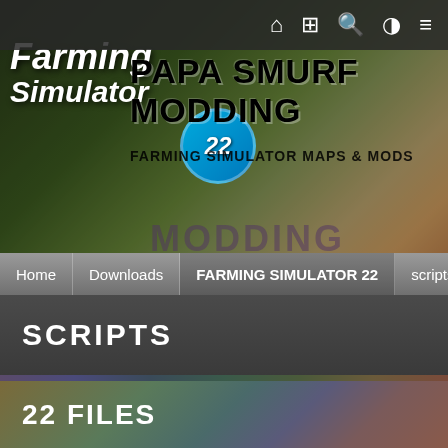Navigation icons: home, news/grid, search, user, menu
[Figure (screenshot): Farming Simulator 22 game banner with tractor and field background]
PAPA SMURF MODDING
FARMING SIMULATOR MAPS & MODS
Home | Downloads | FARMING SIMULATOR 22 | scripts
SCRIPTS
22 FILES